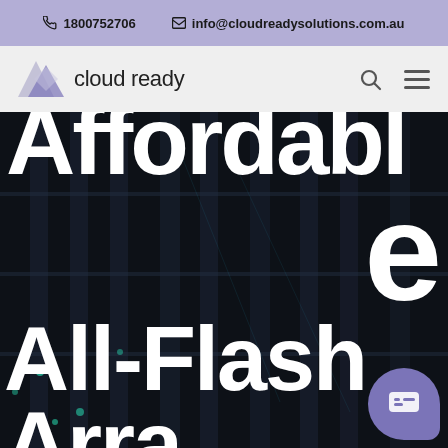1800752706   info@cloudreadysolutions.com.au
[Figure (logo): Cloud Ready logo with stylized triangular shapes and text 'cloud ready', plus search and hamburger menu icons]
Affordable All-Flash Array